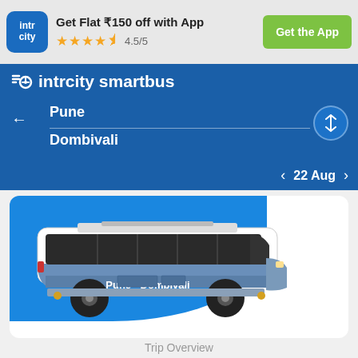Get Flat ₹150 off with App
★★★★½ 4.5/5
Get the App
intrcity smartbus
Pune
Dombivali
< 22 Aug >
[Figure (illustration): Illustration of a blue and white intercity bus with text 'Pune - Dombivali' on its side, set against a blue background.]
Trip Overview